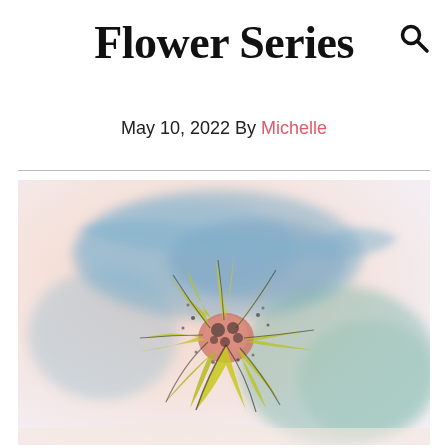Flower Series
May 10, 2022 By Michelle
[Figure (illustration): Watercolor painting of a flower (viewed from above) with yellow and green petals radiating outward, a pink and dark center, surrounded by expressive blue and teal watercolor washes on a soft pink/peach background.]